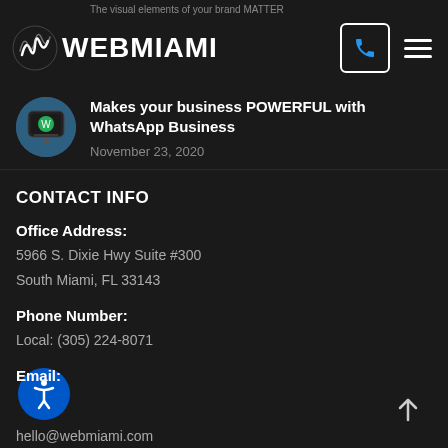The visual elements of your brand MATTER
[Figure (logo): WebMiami logo with stylized W icon and WEBMIAMI text in white on dark background]
Makes your business POWERFUL with WhatsApp Business
November 23, 2020
CONTACT INFO
Office Address:
5966 S. Dixie Hwy Suite #300
South Miami, FL 33143
Phone Number:
Local: (305) 224-8071
Email:
hello@webmiami.com